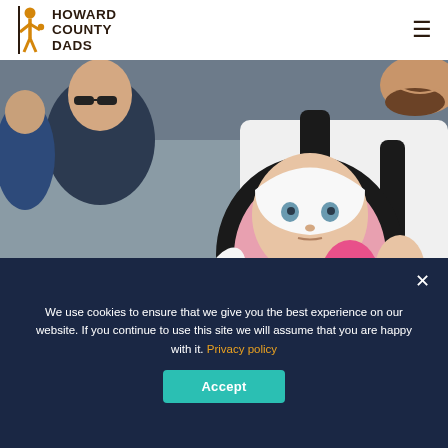[Figure (logo): Howard County Dads logo with silhouette of adult and child, orange and dark brown colors]
[Figure (photo): A bearded man holding a baby in a BabyBjorn carrier at what appears to be a sporting event. The baby is wearing pink and white clothing and looks at the camera.]
We use cookies to ensure that we give you the best experience on our website. If you continue to use this site we will assume that you are happy with it. Privacy policy
Accept